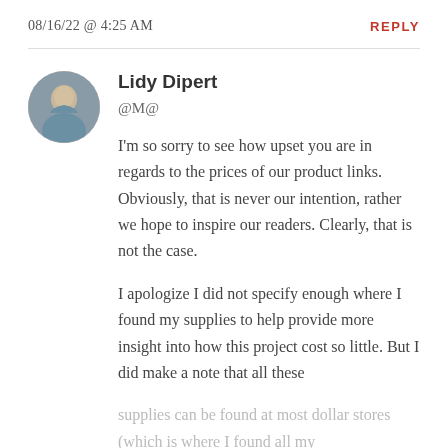08/16/22 @ 4:25 AM
REPLY
Lidy Dipert
@M@
I'm so sorry to see how upset you are in regards to the prices of our product links. Obviously, that is never our intention, rather we hope to inspire our readers. Clearly, that is not the case.
I apologize I did not specify enough where I found my supplies to help provide more insight into how this project cost so little. But I did make a note that all these supplies can be found at most dollar stores (which is where I found all my